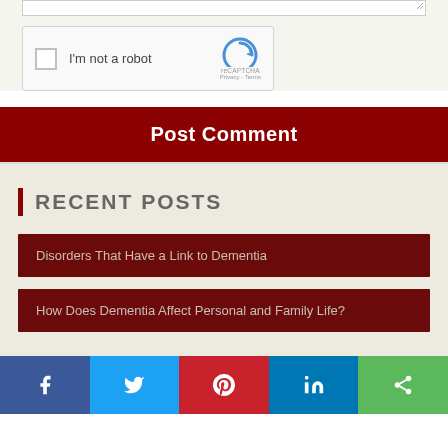[Figure (screenshot): reCAPTCHA widget with checkbox and 'I'm not a robot' text]
Post Comment
RECENT POSTS
Disorders That Have a Link to Dementia
How Does Dementia Affect Personal and Family Life?
[Figure (infographic): Social sharing bar with Facebook, Twitter, Pinterest, LinkedIn, and Share buttons]